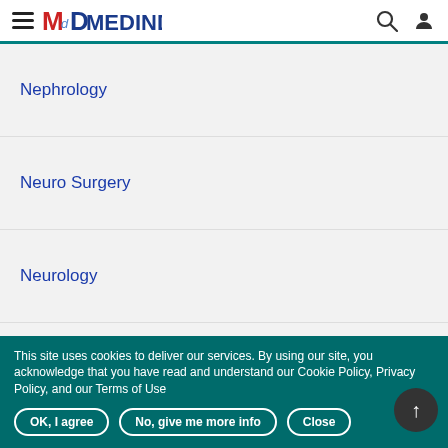MEDINDIA
Nephrology
Neuro Surgery
Neurology
Nuclear Medicine
Nutrition
Obstetrics & Gynecology
This site uses cookies to deliver our services. By using our site, you acknowledge that you have read and understand our Cookie Policy, Privacy Policy, and our Terms of Use